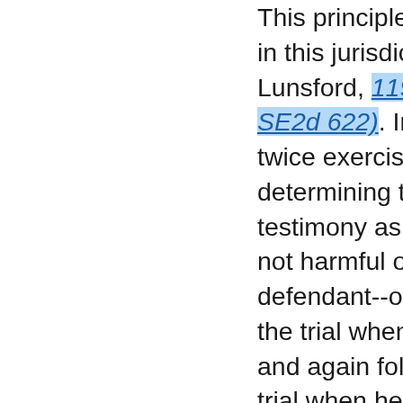This principle is historically respected in this jurisdiction. Williamson v. Lunsford, 119 Ga. App. 240 (166 SE2d 622). In this case the trial judge twice exercised discretion in determining that the volunteered testimony as to liability insurance was not harmful or prejudicial to defendant--once during the course of the trial when the motion was made and again following completion of the trial when he denied the motion for new trial based solely on the point. Under the facts of this case we cannot say the judge abused his discretion. In cases where reversals have occurred such as Decatur Chevrolet Co. v. White, 51 Ga. App. 362 (180 SE 377); Minnick v. Jackson, 64 Ga.